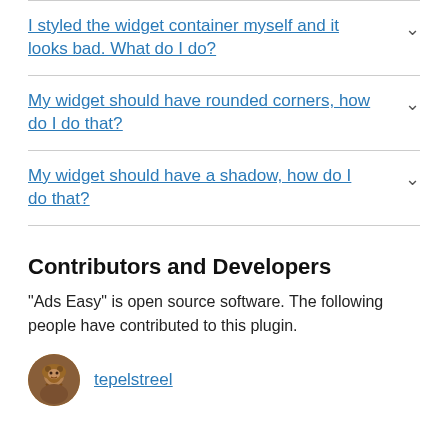I styled the widget container myself and it looks bad. What do I do?
My widget should have rounded corners, how do I do that?
My widget should have a shadow, how do I do that?
Contributors and Developers
“Ads Easy” is open source software. The following people have contributed to this plugin.
tepelstreel